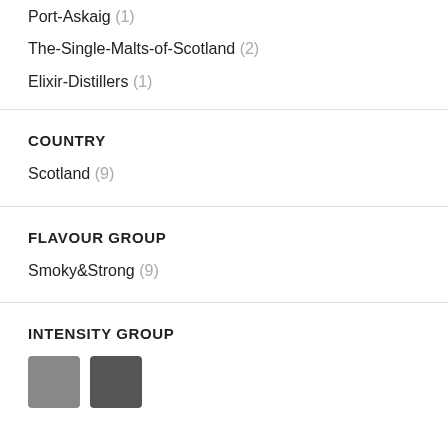Port-Askaig (1)
The-Single-Malts-of-Scotland (2)
Elixir-Distillers (1)
COUNTRY
Scotland (9)
FLAVOUR GROUP
Smoky&Strong (9)
INTENSITY GROUP
[Figure (other): Two colored squares representing intensity levels: one medium gray and one dark gray]